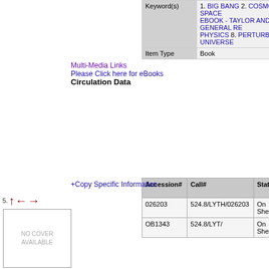| Field | Value |
| --- | --- |
| Keyword(s) | 1. BIG BANG 2. COSMOLOGY 3. CURVED SPACE EBOOK - TAYLOR AND FRANCIS 6. GENERAL RE PHYSICS 8. PERTURBATIONS 9. UNIVERSE |
| Item Type | Book |
Multi-Media Links
Please Click here for eBooks
Circulation Data
| Accession# | Call# | Status | Issued To | Return On |
| --- | --- | --- | --- | --- |
| 026203 | 524.8/LYTH/026203 | On Shelf |  |  |
| OB1343 | 524.8/LYT/ | On Shelf |  |  |
+Copy Specific Information
[Figure (other): Navigation arrows: up, left, right in dark red, with number 5.]
[Figure (other): No cover available placeholder image]
| Field | Value |
| --- | --- |
| Title | Perspectives on string phenomenology |
| Author(s) | Bobby Acharya (ed.);Gordon L. Kane (ed.);Piyush |
| Publication | New Jersey , World Scientific Publishing Co. Pvt. Lt |
| Description | xi, 433p. |
| Series | (Advanced Series on Directions in High Energy Ph |
| Abstract Note | String phenomenology is the branch of string/M th solutions, relates their properties to data, and aim outstanding questions of particle physics beyond t This book contains perspectives on string phenom the leading experts in the field. Contributions will r general overviews and perspectives to more tech |